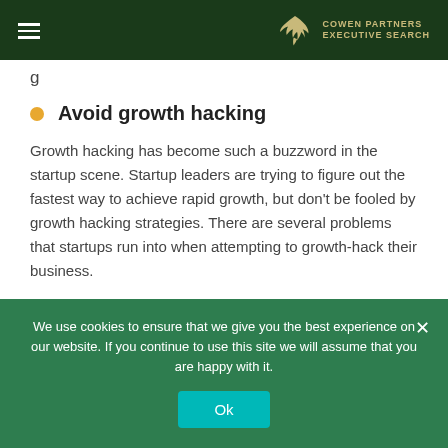Cowen Partners
g
Avoid growth hacking
Growth hacking has become such a buzzword in the startup scene. Startup leaders are trying to figure out the fastest way to achieve rapid growth, but don't be fooled by growth hacking strategies. There are several problems that startups run into when attempting to growth-hack their business.
We use cookies to ensure that we give you the best experience on our website. If you continue to use this site we will assume that you are happy with it.